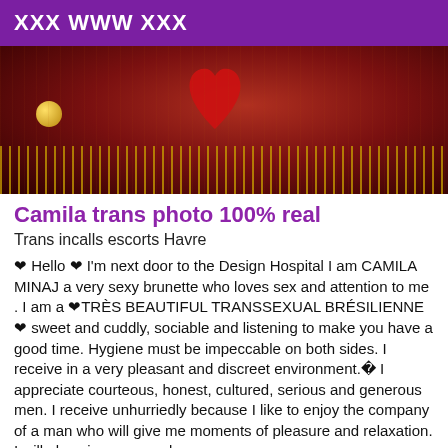XXX WWW XXX
[Figure (photo): Photo of a person in a red costume with gold fringe trim and a large red heart-shaped accessory]
Camila trans photo 100% real
Trans incalls escorts Havre
❤ Hello ❤ I'm next door to the Design Hospital I am CAMILA MINAJ a very sexy brunette who loves sex and attention to me . I am a ❤TRÈS BEAUTIFUL TRANSSEXUAL BRÉSILIENNE❤ sweet and cuddly, sociable and listening to make you have a good time. Hygiene must be impeccable on both sides. I receive in a very pleasant and discreet environment.  I appreciate courteous, honest, cultured, serious and generous men. I receive unhurriedly because I like to enjoy the company of a man who will give me moments of pleasure and relaxation. I will also give you good